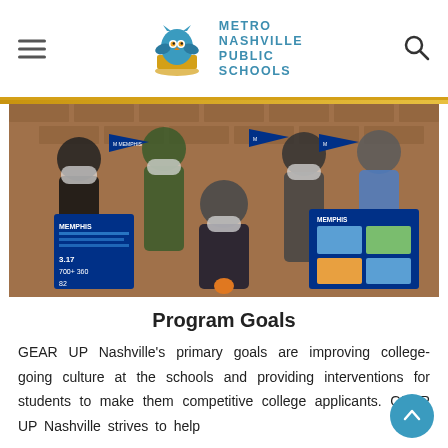Metro Nashville Public Schools
[Figure (photo): Group photo of students and a staff member wearing masks, holding University of Memphis pennants and brochures, inside a school building with brick walls.]
Program Goals
GEAR UP Nashville’s primary goals are improving college-going culture at the schools and providing interventions for students to make them competitive college applicants. GEAR UP Nashville strives to help